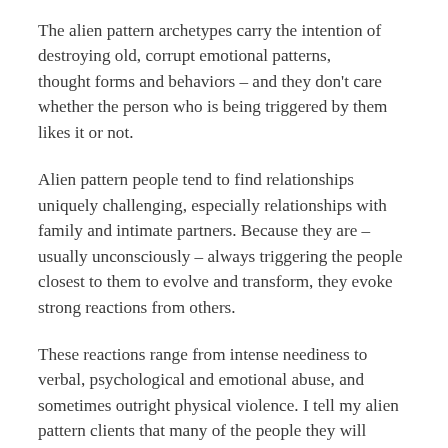The alien pattern archetypes carry the intention of destroying old, corrupt emotional patterns, thought forms and behaviors – and they don't care whether the person who is being triggered by them likes it or not.
Alien pattern people tend to find relationships uniquely challenging, especially relationships with family and intimate partners. Because they are – usually unconsciously – always triggering the people closest to them to evolve and transform, they evoke strong reactions from others.
These reactions range from intense neediness to verbal, psychological and emotional abuse, and sometimes outright physical violence. I tell my alien pattern clients that many of the people they will attract in this lifetime are drawn to them because the other person's soul wants the alien pattern medicine the client carries. But if the other person is locked in an egoic mind state of fear, shame